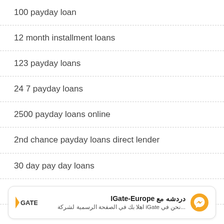100 payday loan
12 month installment loans
123 payday loans
24 7 payday loans
2500 payday loans online
2nd chance payday loans direct lender
30 day pay day loans
3000 payday loan
[Figure (other): IGate-Europe Facebook Messenger chat widget with Arabic text: نحن في iGate اهلا بك في الصفحة الرسمية لشركة...]